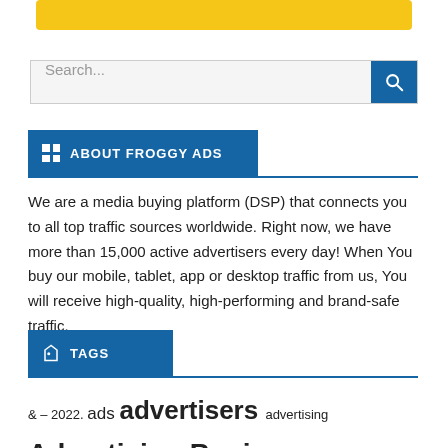[Figure (other): Yellow banner/logo strip at top]
[Figure (other): Search bar with blue search button and magnifying glass icon]
ABOUT FROGGY ADS
We are a media buying platform (DSP) that connects you to all top traffic sources worldwide. Right now, we have more than 15,000 active advertisers every day! When You buy our mobile, tablet, app or desktop traffic from us, You will receive high-quality, high-performing and brand-safe traffic.
TAGS
& – 2022. ads advertisers advertising Advertising Business affiliate and banners best blog Business business management case study